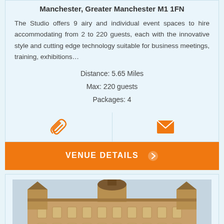Manchester, Greater Manchester M1 1FN
The Studio offers 9 airy and individual event spaces to hire accommodating from 2 to 220 guests, each with the innovative style and cutting edge technology suitable for business meetings, training, exhibitions…
Distance: 5.65 Miles
Max: 220 guests
Packages: 4
[Figure (infographic): Paperclip icon and envelope/mail icon in orange, side by side in two cells]
VENUE DETAILS ❯
[Figure (photo): A historic red brick building with ornate Victorian architecture, featuring turrets and decorative stonework, photographed from ground level looking up.]